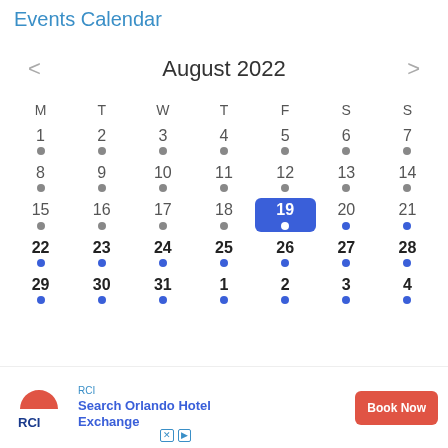Events Calendar
| M | T | W | T | F | S | S |
| --- | --- | --- | --- | --- | --- | --- |
| 1 | 2 | 3 | 4 | 5 | 6 | 7 |
| 8 | 9 | 10 | 11 | 12 | 13 | 14 |
| 15 | 16 | 17 | 18 | 19 | 20 | 21 |
| 22 | 23 | 24 | 25 | 26 | 27 | 28 |
| 29 | 30 | 31 | 1 | 2 | 3 | 4 |
August 2022
[Figure (other): RCI advertisement banner: Search Orlando Hotel Exchange, Book Now button]